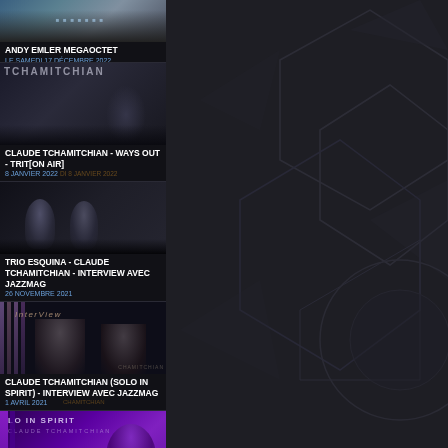[Figure (screenshot): Video thumbnail card for Andy Emler Megaoctet, LE SAMEDI 17 DÉCEMBRE 2022]
[Figure (screenshot): Video thumbnail card for Claude Tchamitchian - Ways Out - TRIT[ON AIR], 8 JANVIER 2022]
[Figure (screenshot): Video thumbnail card for Trio Esquina - Claude Tchamitchian - Interview avec Jazzmag, 26 NOVEMBRE 2021]
[Figure (screenshot): Video thumbnail card for Claude Tchamitchian (Solo in Spirit) - Interview avec Jazzmag, 1 AVRIL 2021]
[Figure (screenshot): Video thumbnail card for Solo in Spirit - Claude Tchamitchian - TRIT[ON AIR], 1 AVRIL 2021]
[Figure (screenshot): Video thumbnail card partially visible at bottom with Vidéo badge]